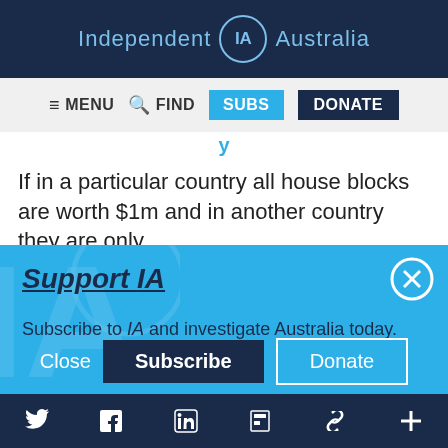Independent IA Australia
[Figure (screenshot): Navigation bar with MENU, FIND, SUBS, DONATE buttons]
If in a particular country all house blocks are worth $1m and in another country they are only
[Figure (screenshot): Support IA popup overlay with Subscribe and Donate buttons]
Social media icons: Twitter, Facebook, LinkedIn, Flipboard, Link, Plus